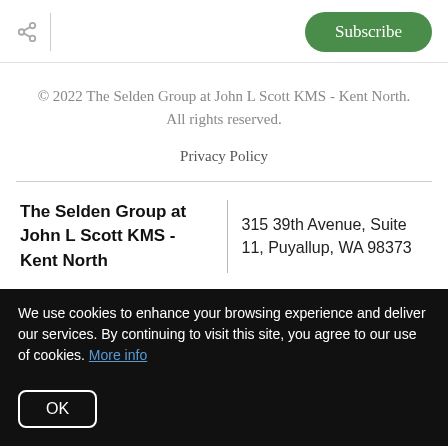Subscribe
© 2022 The Selden Group at John L Scott KMS - Kent North. All rights reserved.
Privacy Policy
The Selden Group at John L Scott KMS - Kent North
315 39th Avenue, Suite 11, Puyallup, WA 98373
We use cookies to enhance your browsing experience and deliver our services. By continuing to visit this site, you agree to our use of cookies. More info
OK